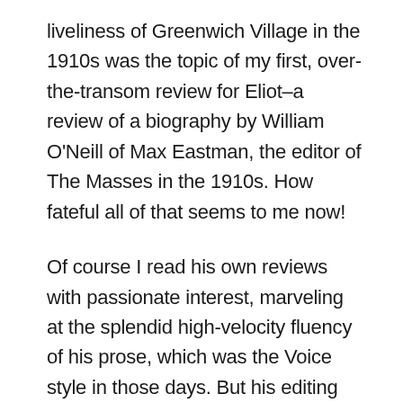liveliness of Greenwich Village in the 1910s was the topic of my first, over-the-transom review for Eliot–a review of a biography by William O'Neill of Max Eastman, the editor of The Masses in the 1910s. How fateful all of that seems to me now!
Of course I read his own reviews with passionate interest, marveling at the splendid high-velocity fluency of his prose, which was the Voice style in those days. But his editing meant the most to me. Everyone knows that, in the history of literature and journalism, editors typically get overlooked in favor of writers. Eliot was a writer and editor both, and I am celebrating, I will always celebrate, the work